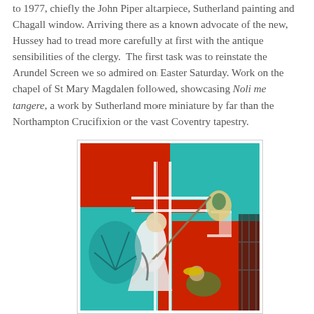to 1977, chiefly the John Piper altarpiece, Sutherland painting and Chagall window. Arriving there as a known advocate of the new, Hussey had to tread more carefully at first with the antique sensibilities of the clergy.  The first task was to reinstate the Arundel Screen we so admired on Easter Saturday. Work on the chapel of St Mary Magdalen followed, showcasing Noli me tangere, a work by Sutherland more miniature by far than the Northampton Crucifixion or the vast Coventry tapestry.
[Figure (illustration): A colourful painting depicting two figures against a vivid red and teal background, appearing to show a religious scene — likely Noli me tangere by Graham Sutherland. One figure in white leans forward with a staff, while another crouches below. Bold reds, teals and whites dominate the composition.]